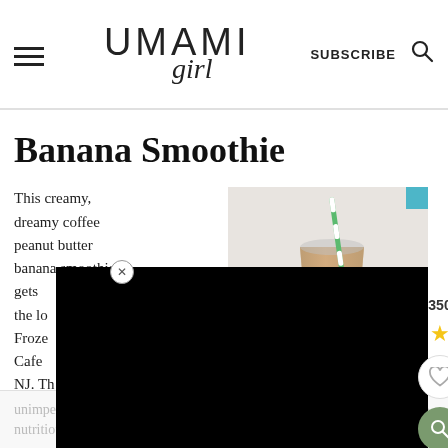UMAMI girl | SUBSCRIBE
Banana Smoothie
This creamy, dreamy coffee peanut butter banana smoothie gets the lo... Frozen Cafe NJ. This recipe gluten free. And unimpeachably nutritious — but
[Figure (photo): A glass banana smoothie with a green and white striped straw, photographed from the side on a light marble surface.]